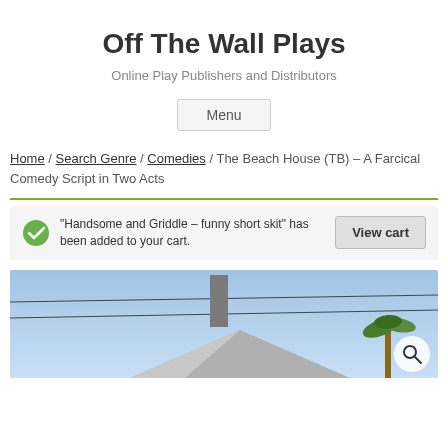Off The Wall Plays
Online Play Publishers and Distributors
Menu
Home / Search Genre / Comedies / The Beach House (TB) – A Farcical Comedy Script in Two Acts
“Handsome and Griddle – funny short skit” has been added to your cart.
View cart
[Figure (photo): Photo of a beach house with a chimney, power lines, and palm tree visible against a blue sky]